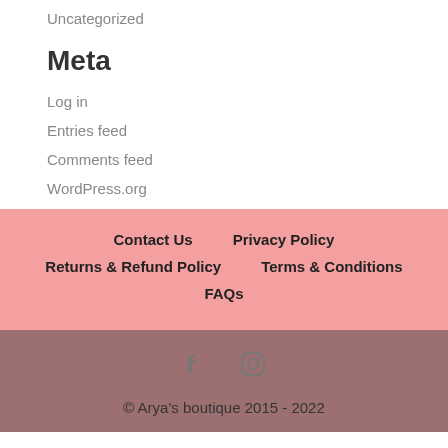Uncategorized
Meta
Log in
Entries feed
Comments feed
WordPress.org
Contact Us   Privacy Policy   Returns & Refund Policy   Terms & Conditions   FAQs
© Arya's boutique 2015 - 2022